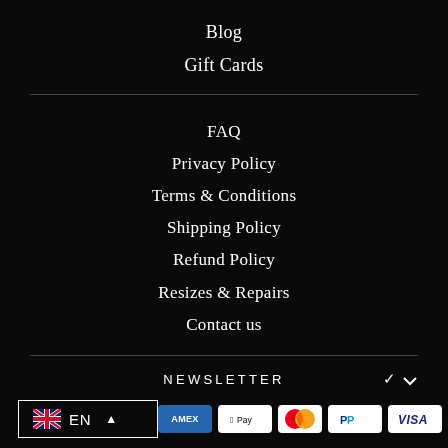Blog
Gift Cards
FAQ
Privacy Policy
Terms & Conditions
Shipping Policy
Refund Policy
Resizes & Repairs
Contact us
NEWSLETTER
EN
[Figure (logo): Payment icons: American Express, Apple Pay, Mastercard, PayPal, Visa]